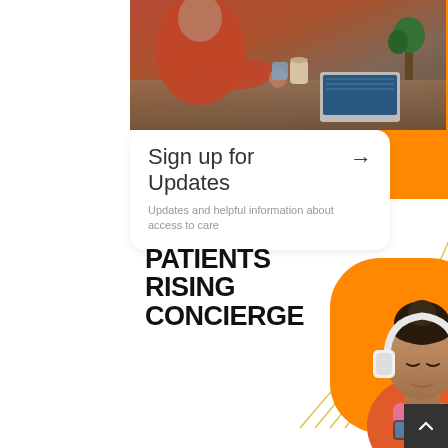[Figure (photo): Photo of person in red shirt at desk with laptop, plant in background — top banner image]
Sign up for Updates
Updates and helpful information about access to care
[Figure (illustration): Orange decorative background section with yellow wavy concentric arc lines]
PATIENTS RISING CONCIERGE
[Figure (photo): Young woman wearing white headphones and looking at phone, on orange background]